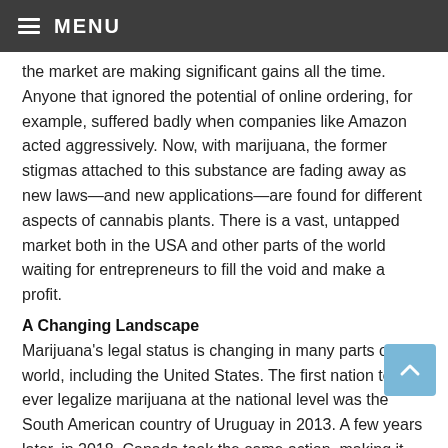≡ MENU
the market are making significant gains all the time. Anyone that ignored the potential of online ordering, for example, suffered badly when companies like Amazon acted aggressively. Now, with marijuana, the former stigmas attached to this substance are fading away as new laws—and new applications—are found for different aspects of cannabis plants. There is a vast, untapped market both in the USA and other parts of the world waiting for entrepreneurs to fill the void and make a profit.
A Changing Landscape
Marijuana's legal status is changing in many parts of the world, including the United States. The first nation to ever legalize marijuana at the national level was the South American country of Uruguay in 2013. A few years later, in 2018, Canada took the same action, making it the first of the First World Nations to do so.